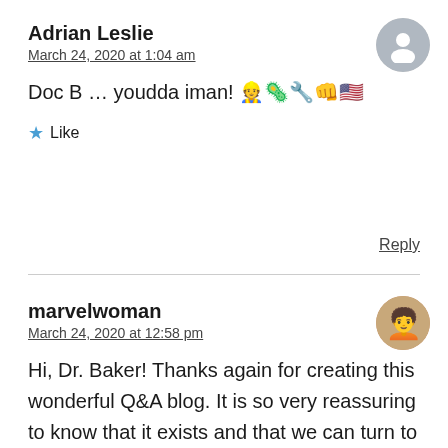Adrian Leslie
March 24, 2020 at 1:04 am
Doc B … youdda iman! 👷🦠🔧👊🇺🇸
★ Like
Reply
marvelwoman
March 24, 2020 at 12:58 pm
Hi, Dr. Baker! Thanks again for creating this wonderful Q&A blog. It is so very reassuring to know that it exists and that we can turn to you for reliable answers to our questions in this era of